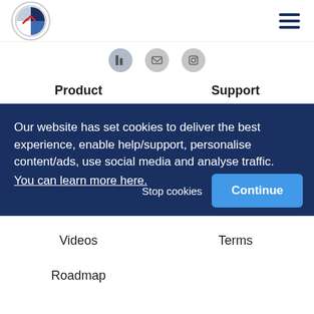[Figure (logo): Circular logo with dark blue and light blue quadrants and red arrow-like mark in center]
[Figure (other): Hamburger menu icon with three horizontal dark navy lines]
[Figure (other): Three circular social media icons (LinkedIn, email, Instagram) in grey]
Product
Support
Our website has set cookies to deliver the best experience, enable help/support, personalise content/ads, use social media and analyse traffic.
You can learn more here.
Stop cookies
Continue
Videos
Terms
Roadmap